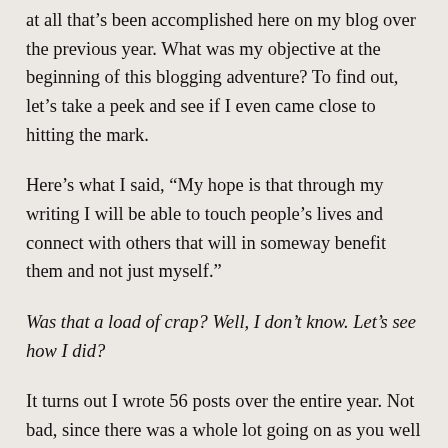at all that's been accomplished here on my blog over the previous year. What was my objective at the beginning of this blogging adventure? To find out, let's take a peek and see if I even came close to hitting the mark.
Here's what I said, “My hope is that through my writing I will be able to touch people’s lives and connect with others that will in someway benefit them and not just myself.”
Was that a load of crap? Well, I don’t know. Let’s see how I did?
It turns out I wrote 56 posts over the entire year. Not bad, since there was a whole lot going on as you well know. I had over 2300 comments, which granted some of them I’m quite sure were my replies in response to yours. But all and all, I couldn’t be happier. It’s always good to know that I am not